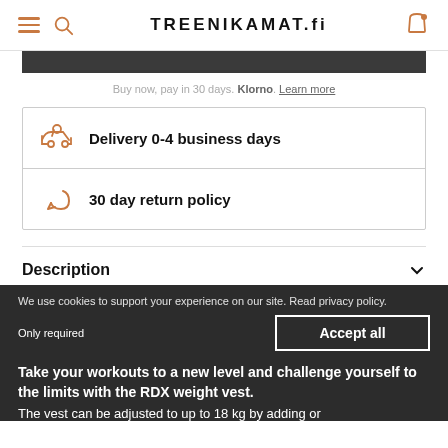TREENIKAMAT.fi
Buy now, pay in 30 days. Klorno. Learn more
Delivery 0-4 business days
30 day return policy
Description
We use cookies to support your experience on our site. Read privacy policy.
Take your workouts to a new level and challenge yourself to the limits with the RDX weight vest.
The vest can be adjusted to up to 18 kg by adding or